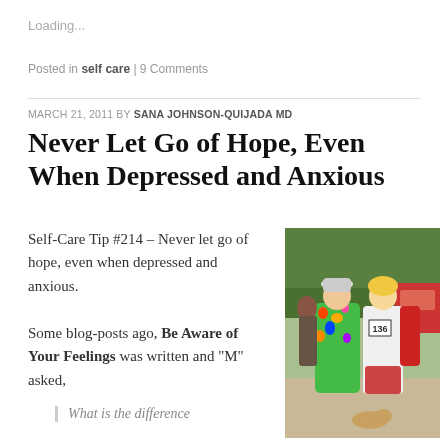Loading...
Posted in self care | 9 Comments
MARCH 21, 2011 BY SANA JOHNSON-QUIJADA MD
Never Let Go of Hope, Even When Depressed and Anxious
Self-Care Tip #214 – Never let go of hope, even when depressed and anxious.
Some blog-posts ago, Be Aware of Your Feelings was written and “M” asked,
[Figure (photo): Two women posing together outdoors at what appears to be a running event; one wears a colorful floral outfit with a white hat, the other wears athletic gear with race number 136; trees and vehicles visible in background.]
What is the difference